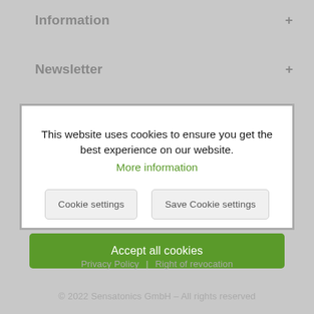Information +
Newsletter +
This website uses cookies to ensure you get the best experience on our website.
More information
Cookie settings
Save Cookie settings
Accept all cookies
Privacy Policy | Right of revocation
© 2022 Sensatonics GmbH – All rights reserved